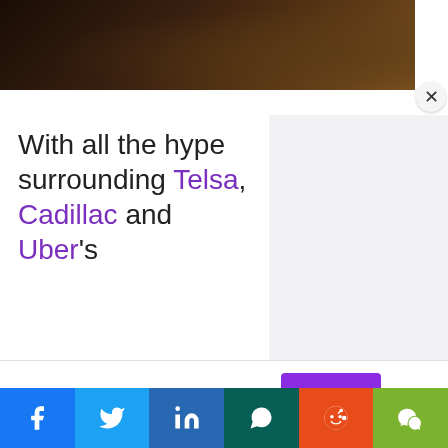[Figure (photo): Dark brown image strip showing what appears to be a close-up of interior or animal fur, shown at the top of the page]
With all the hype surrounding Telsa, Cadillac and Uber's
[Figure (other): Gray advertisement placeholder box on the right side]
This website uses cookies.
Accept
[Figure (other): Social sharing bar with icons for Facebook, Twitter, LinkedIn, WhatsApp, Reddit, WeChat]